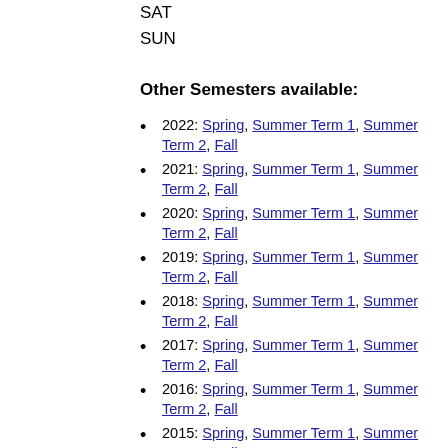SAT
SUN
Other Semesters available:
2022: Spring, Summer Term 1, Summer Term 2, Fall
2021: Spring, Summer Term 1, Summer Term 2, Fall
2020: Spring, Summer Term 1, Summer Term 2, Fall
2019: Spring, Summer Term 1, Summer Term 2, Fall
2018: Spring, Summer Term 1, Summer Term 2, Fall
2017: Spring, Summer Term 1, Summer Term 2, Fall
2016: Spring, Summer Term 1, Summer Term 2, Fall
2015: Spring, Summer Term 1, Summer Term 2, Fall
2014: Spring, Summer, Summer Term 1, Summer Term 2, Fall
2013: Spring, Summer, Summer Term 1, Summer Term 2, Fall